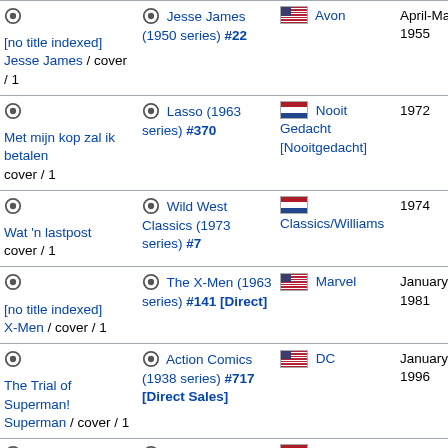| Title/Type | Issue | Publisher | Date |  |
| --- | --- | --- | --- | --- |
| [no title indexed] Jesse James / cover / 1 | Jesse James (1950 series) #22 | Avon | April-May 1955 | — |
| Met mijn kop zal ik betalen cover / 1 | Lasso (1963 series) #370 | Nooit Gedacht [Nooitgedacht] | 1972 | 19 |
| Wat 'n lastpost cover / 1 | Wild West Classics (1973 series) #7 | Classics/Williams | 1974 | 19 |
| [no title indexed] X-Men / cover / 1 | The X-Men (1963 series) #141 [Direct] | Marvel | January 1981 | 19 09 |
| The Trial of Superman! Superman / cover / 1 | Action Comics (1938 series) #717 [Direct Sales] | DC | January 1996 | 19 11 |
| Met mijn kop | Cowboy Superstrip |  | 1980 |  |